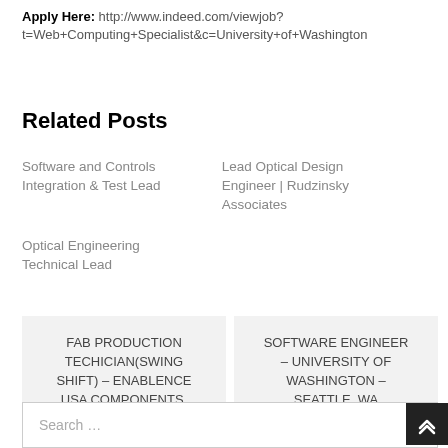Apply Here: http://www.indeed.com/viewjob?t=Web+Computing+Specialist&c=University+of+Washington
Related Posts
Software and Controls Integration & Test Lead
Lead Optical Design Engineer | Rudzinsky Associates
Optical Engineering Technical Lead
FAB PRODUCTION TECHICIAN(SWING SHIFT) – ENABLENCE USA COMPONENTS, INC – FREMONT, CA
SOFTWARE ENGINEER – UNIVERSITY OF WASHINGTON – SEATTLE, WA
Search …